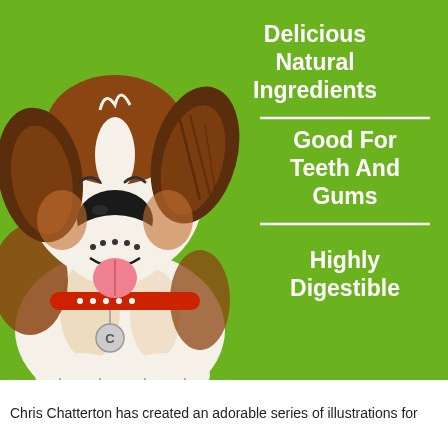[Figure (illustration): Illustrated cartoon dog with brown and white fur, floppy brown ear, happy expression with tongue out, wearing a red collar with a silver tag marked 'C', on a bright green background. Right side has white bold text listing product features: 'Delicious Natural Ingredients', 'Good For Teeth And Gums', 'Highly Digestible', separated by white horizontal dividers.]
Chris Chatterton has created an adorable series of illustrations for